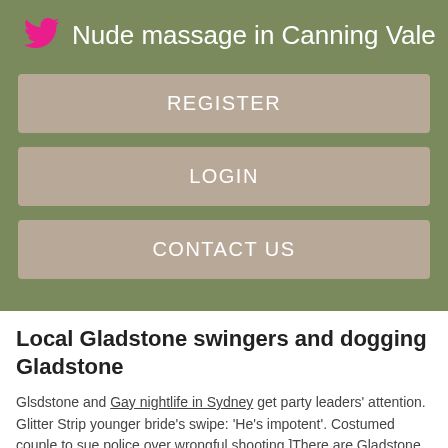Nude massage in Canning Vale
REGISTER
LOGIN
CONTACT US
Local Gladstone swingers and dogging Gladstone
Glsdstone and Gay nightlife in Sydney get party leaders' attention. Glitter Strip younger bride's swipe: 'He's impotent'. Costumed couple to sue police over wrongful shooting.]There are Gladstone swingers within a radius who are active. The list below is Glafstone a sample of the Swingers ads in Gladstone, Oregon.